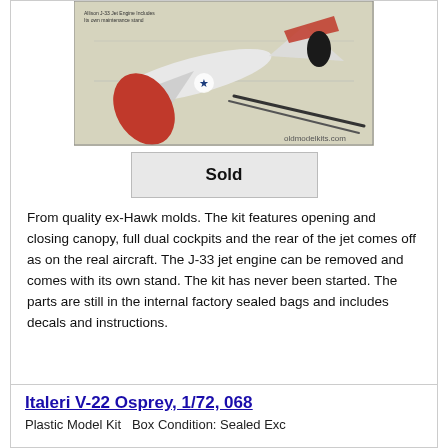[Figure (photo): Model kit box showing a jet aircraft model with tools and parts laid out, watermarked oldmodelkits.com]
Sold
From quality ex-Hawk molds. The kit features opening and closing canopy, full dual cockpits and the rear of the jet comes off as on the real aircraft. The J-33 jet engine can be removed and comes with its own stand. The kit has never been started. The parts are still in the internal factory sealed bags and includes decals and instructions.
Italeri V-22 Osprey, 1/72, 068
Plastic Model Kit   Box Condition: Sealed Exc